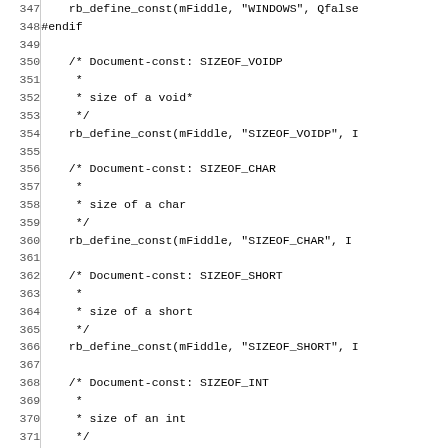Source code listing, lines 347-376, showing rb_define_const calls and Document-const comments for SIZEOF_VOIDP, SIZEOF_CHAR, SIZEOF_SHORT, SIZEOF_INT, SIZEOF_LONG